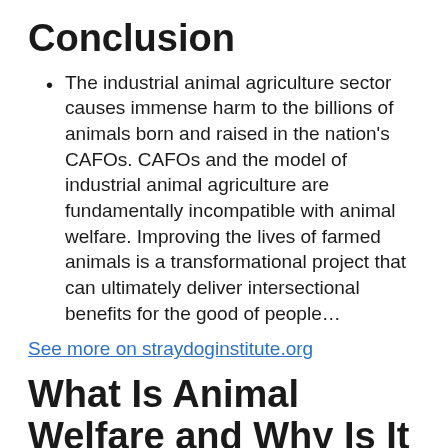Conclusion
The industrial animal agriculture sector causes immense harm to the billions of animals born and raised in the nation’s CAFOs. CAFOs and the model of industrial animal agriculture are fundamentally incompatible with animal welfare. Improving the lives of farmed animals is a transformational project that can ultimately deliver intersectional benefits for the good of people…
See more on straydoginstitute.org
What Is Animal Welfare and Why Is It